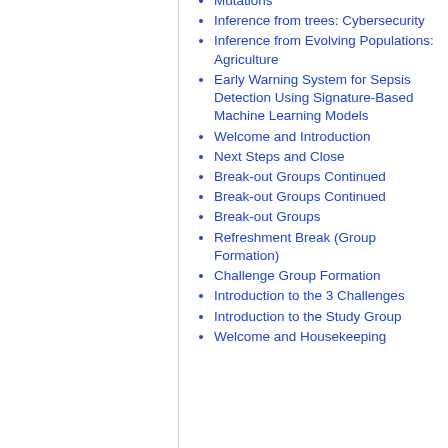Mutations
Inference from trees: Cybersecurity
Inference from Evolving Populations: Agriculture
Early Warning System for Sepsis Detection Using Signature-Based Machine Learning Models
Welcome and Introduction
Next Steps and Close
Break-out Groups Continued
Break-out Groups Continued
Break-out Groups
Refreshment Break (Group Formation)
Challenge Group Formation
Introduction to the 3 Challenges
Introduction to the Study Group
Welcome and Housekeeping